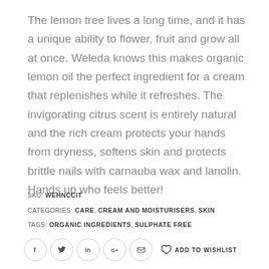The lemon tree lives a long time, and it has a unique ability to flower, fruit and grow all at once. Weleda knows this makes organic lemon oil the perfect ingredient for a cream that replenishes while it refreshes. The invigorating citrus scent is entirely natural and the rich cream protects your hands from dryness, softens skin and protects brittle nails with carnauba wax and lanolin. Hands up who feels better!
SKU: WEHNCCIT
CATEGORIES: CARE, CREAM AND MOISTURISERS, SKIN
TAGS: ORGANIC INGREDIENTS, SULPHATE FREE
[Figure (infographic): Social media share icons (Facebook, Twitter, LinkedIn, Google+, Email) in circular borders, followed by a heart/wishlist icon and ADD TO WISHLIST text]